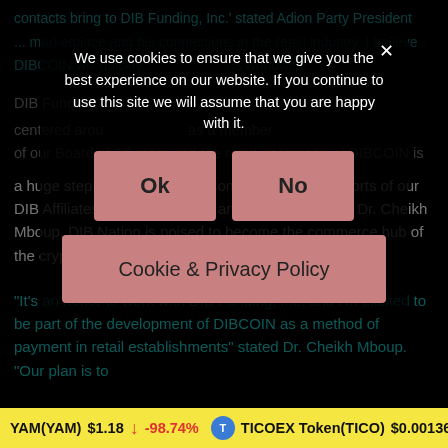contacts bring to DIB Funding, Inc.' stated Adion Party President ...marketplace and his connections in the retail industry. I believe DIBCOIN will quickly...ns worldwide'.
DIB Funding, I...economy centered arou...as a member of our Board of Advisors and the retail integration of DIBCOIN is a huge step in that direction. Combined with the efforts of our DIB Affiliates, media exposure and our new advisor Dr. Cheikh Mboup, DIB Nation is poised to become the commerce hub of the crypto currency industry.
"It's an honor to work with DIB Funding, Inc. and I'm excited to be part of the development of DIBCOIN as a method of payment in retail establishments" stated Dr. Cheikh Mboup. "Our plan is to
We use cookies to ensure that we give you the best experience on our website. If you continue to use this site we will assume that you are happy with it.
Ok
No
Cookie & Privacy Policy
YAM(YAM) $1.18 ↓ -98.74% TICOEX Token(TICO) $0.001364 ↑ 0